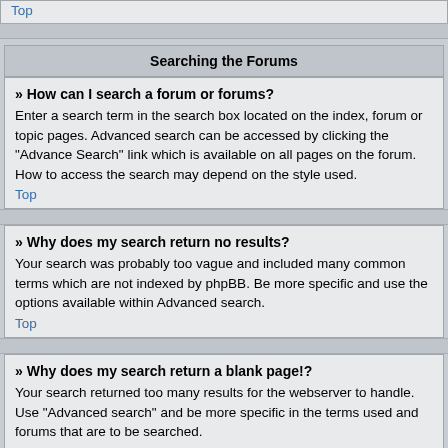Top
Searching the Forums
» How can I search a forum or forums?
Enter a search term in the search box located on the index, forum or topic pages. Advanced search can be accessed by clicking the "Advance Search" link which is available on all pages on the forum. How to access the search may depend on the style used.
Top
» Why does my search return no results?
Your search was probably too vague and included many common terms which are not indexed by phpBB. Be more specific and use the options available within Advanced search.
Top
» Why does my search return a blank page!?
Your search returned too many results for the webserver to handle. Use "Advanced search" and be more specific in the terms used and forums that are to be searched.
Top
» How do I search for members?